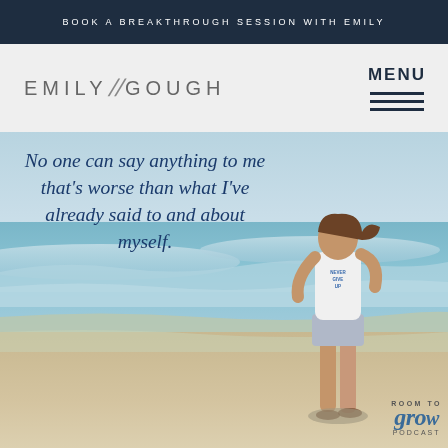BOOK A BREAKTHROUGH SESSION WITH EMILY
EMILY // GOUGH
MENU
[Figure (photo): Woman standing on a beach near the ocean waves, wearing a white 'Never Give Up' tank top and denim shorts, smiling with wind in her hair. Blue ocean and waves in background.]
No one can say anything to me that's worse than what I've already said to and about myself.
ROOM TO grow PODCAST